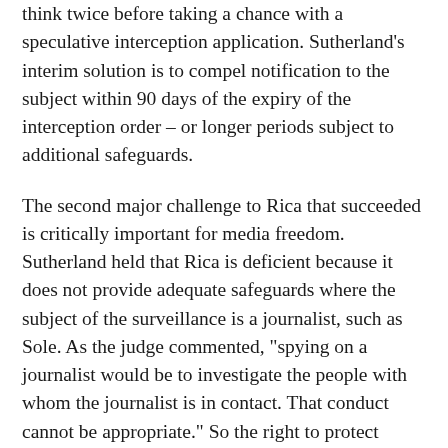think twice before taking a chance with a speculative interception application. Sutherland's interim solution is to compel notification to the subject within 90 days of the expiry of the interception order – or longer periods subject to additional safeguards.
The second major challenge to Rica that succeeded is critically important for media freedom. Sutherland held that Rica is deficient because it does not provide adequate safeguards where the subject of the surveillance is a journalist, such as Sole. As the judge commented, "spying on a journalist would be to investigate the people with whom the journalist is in contact. That conduct cannot be appropriate." So the right to protect sources "must extend to protection from being spied on too".
The judge's interim solution is that this material fact must be brought to the attention of the designated judge and the judge should ensure the order is only granted if